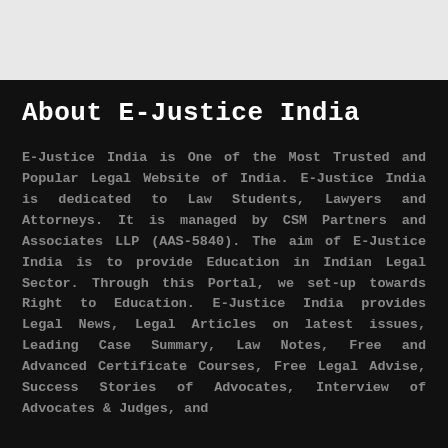About E-Justice India
E-Justice India is One of the Most Trusted and Popular Legal Website of India. E-Justice India is dedicated to Law Students, Lawyers and Attorneys. It is managed by CSM Partners and Associates LLP (AAS-5840). The aim of E-Justice India is to provide Education in Indian Legal Sector. Through this Portal, we set-up towards Right to Education. E-Justice India provides Legal News, Legal Articles on latest issues, Leading Case Summary, Law Notes, Free and Advanced Certificate Courses, Free Legal Advise, Success Stories of Advocates, Interview of Advocates & Judges, and